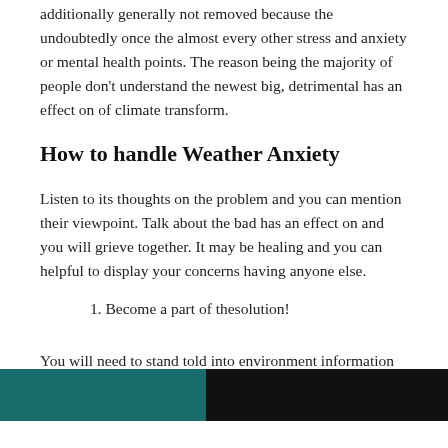additionally generally not removed because the undoubtedly once the almost every other stress and anxiety or mental health points. The reason being the majority of people don't understand the newest big, detrimental has an effect on of climate transform.
How to handle Weather Anxiety
Listen to its thoughts on the problem and you can mention their viewpoint. Talk about the bad has an effect on and you will grieve together. It may be healing and you can helpful to display your concerns having anyone else.
1. Become a part of thesolution!
You will need to stand told into environment information and use your education for good. Subscribe a climate justice team at your school or perhaps in your own
[Figure (photo): Partial view of a photo showing a teal/dark teal background on the left and a dark/black background on the right, cut off at the bottom of the page.]